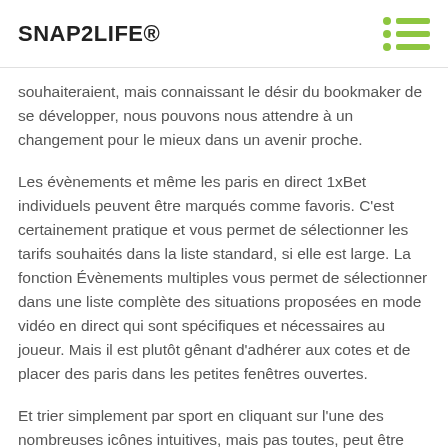SNAP2LIFE®
souhaiteraient, mais connaissant le désir du bookmaker de se développer, nous pouvons nous attendre à un changement pour le mieux dans un avenir proche.
Les évènements et même les paris en direct 1xBet individuels peuvent être marqués comme favoris. C'est certainement pratique et vous permet de sélectionner les tarifs souhaités dans la liste standard, si elle est large. La fonction Évènements multiples vous permet de sélectionner dans une liste complète des situations proposées en mode vidéo en direct qui sont spécifiques et nécessaires au joueur. Mais il est plutôt gênant d'adhérer aux cotes et de placer des paris dans les petites fenêtres ouvertes.
Et trier simplement par sport en cliquant sur l'une des nombreuses icônes intuitives, mais pas toutes, peut être